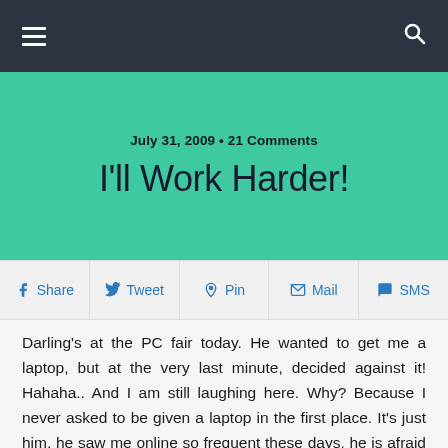≡  🔍
July 31, 2009 • 21 Comments
I'll Work Harder!
Share  Tweet  Pin  Mail  SMS
Darling's at the PC fair today. He wanted to get me a laptop, but at the very last minute, decided against it! Hahaha.. And I am still laughing here. Why? Because I never asked to be given a laptop in the first place. It's just him, he saw me online so frequent these days, he is afraid I will 'damage' his precious desktop at home and thought of getting me my own laptop.